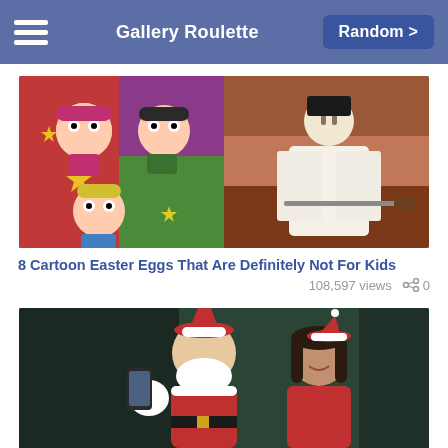Gallery Roulette  Random >
[Figure (photo): Composite cartoon image: left half shows Powerpuff Girls characters on colorful background with stars; right half shows a samurai character in white robes holding a sword on an orange/brown background]
8 Cartoon Easter Eggs That Are Definitely Not For Kids
108,597 views   0
[Figure (photo): Santa Claus in red suit taking a selfie with a woman dressed in red/Christmas attire, dark green background]